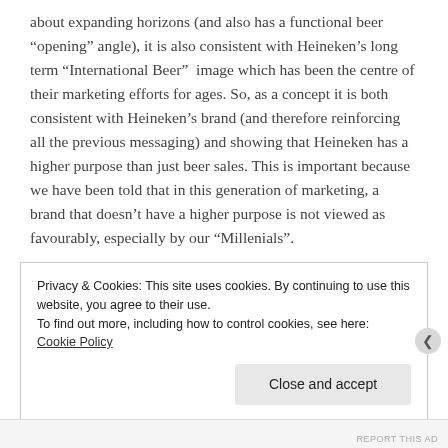about expanding horizons (and also has a functional beer “opening” angle), it is also consistent with Heineken’s long term “International Beer”  image which has been the centre of their marketing efforts for ages. So, as a concept it is both consistent with Heineken’s brand (and therefore reinforcing all the previous messaging) and showing that Heineken has a higher purpose than just beer sales. This is important because we have been told that in this generation of marketing, a brand that doesn’t have a higher purpose is not viewed as favourably, especially by our “Millenials”.
However, if we  can assume their aim was to create
Privacy & Cookies: This site uses cookies. By continuing to use this website, you agree to their use.
To find out more, including how to control cookies, see here: Cookie Policy